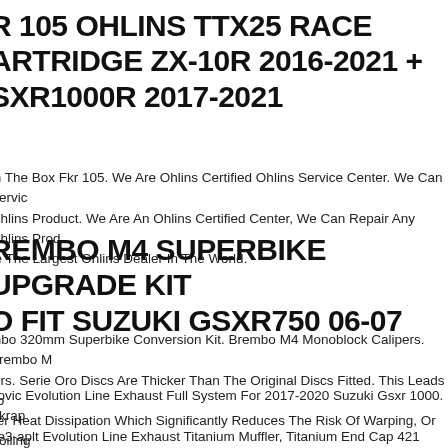R 105 OHLINS TTX25 RACE ARTRIDGE ZX-10R 2016-2021 + SXR1000R 2017-2021
In The Box Fkr 105. We Are Ohlins Certified Ohlins Service Center. We Can Service Any Ohlins Product. We Are An Ohlins Certified Center, We Can Repair Any Ohlins Product. We Are The Largest Ohlins Dealer In The World.
REMBO M4 SUPERBIKE UPGRADE KIT TO FIT SUZUKI GSXR750 06-07
mbo 320mm Superbike Conversion Kit. Brembo M4 Monoblock Calipers. Brembo M... ers. Serie Oro Discs Are Thicker Than The Original Discs Fitted. This Leads To ... ker Heat Dissipation Which Significantly Reduces The Risk Of Warping, Or Boiling... e Fluid.
povic Evolution Line Exhaust Full System For 2017-2020 Suzuki Gsxr 1000. Akrap... 0e3-aplt Evolution Line Exhaust Titanium Muffler, Titanium End Cap 421 Conical. ... ki Gsx-r 1000. 2017 Suzuki Gsx-r 1000 Abs. Evolution Kit Systems Feature A 300... or High-mount Design And Includes A Carbon-fiber Muffler Mounting Bracket.